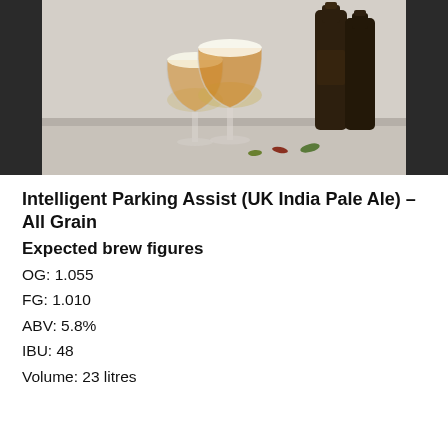[Figure (photo): Two tulip-style beer glasses filled with amber/orange beer alongside two dark brown beer bottles, with bottle caps on the table surface, photographed against a light background.]
Intelligent Parking Assist (UK India Pale Ale) – All Grain
Expected brew figures
OG: 1.055
FG: 1.010
ABV: 5.8%
IBU: 48
Volume: 23 litres